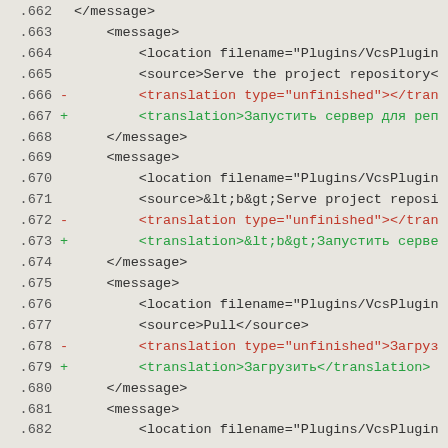Code diff showing XML translation file lines 662-682
.662     </message>
.663     <message>
.664         <location filename="Plugins/VcsPlugin
.665         <source>Serve the project repository<
.666 -       <translation type="unfinished"></tran
.667 +       <translation>Запустить сервер для реп
.668         </message>
.669     <message>
.670         <location filename="Plugins/VcsPlugin
.671         <source>&lt;b&gt;Serve project reposi
.672 -       <translation type="unfinished"></tran
.673 +       <translation>&lt;b&gt;Запустить серве
.674         </message>
.675     <message>
.676         <location filename="Plugins/VcsPlugin
.677         <source>Pull</source>
.678 -       <translation type="unfinished">Загруз
.679 +       <translation>Загрузить</translation>
.680         </message>
.681     <message>
.682         <location filename="Plugins/VcsPlugin